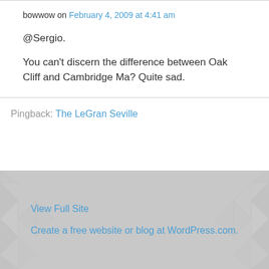bowwow on February 4, 2009 at 4:41 am
@Sergio.
You can't discern the difference between Oak Cliff and Cambridge Ma? Quite sad.
Pingback: The LeGran Seville
View Full Site
Create a free website or blog at WordPress.com.